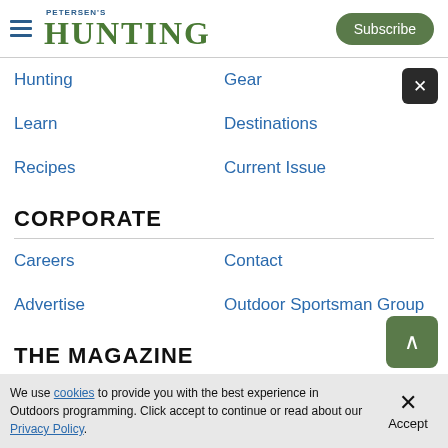PETERSEN'S HUNTING — Subscribe
Hunting
Gear
Learn
Destinations
Recipes
Current Issue
CORPORATE
Careers
Contact
Advertise
Outdoor Sportsman Group
THE MAGAZINE
We use cookies to provide you with the best experience in Outdoors programming. Click accept to continue or read about our Privacy Policy.